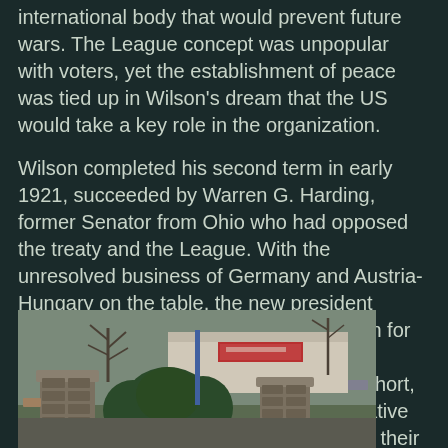international body that would prevent future wars. The League concept was unpopular with voters, yet the establishment of peace was tied up in Wilson's dream that the US would take a key role in the organization.
Wilson completed his second term in early 1921, succeeded by Warren G. Harding, former Senator from Ohio who had opposed the treaty and the League. With the unresolved business of Germany and Austria-Hungary on the table, the new president implored Congress to deliver a resolution for peace that would not commit the U.S. to membership in the League. Long story short, Senator Philander Knox and Representative Stephen Porter introduced resolutions in their respective houses of Congress, both passed and were reconciled, and the document was ready for Harding's signature on July 2.
[Figure (photo): Outdoor photo showing two stone pillars/columns flanking an entrance with evergreen shrubs behind them, bare trees, and a commercial building with a red and white sign in the background.]